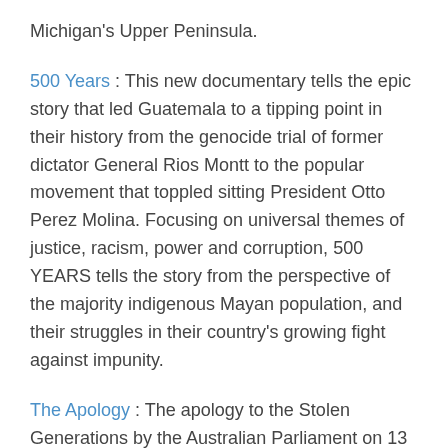Michigan's Upper Peninsula.
500 Years : This new documentary tells the epic story that led Guatemala to a tipping point in their history from the genocide trial of former dictator General Rios Montt to the popular movement that toppled sitting President Otto Perez Molina. Focusing on universal themes of justice, racism, power and corruption, 500 YEARS tells the story from the perspective of the majority indigenous Mayan population, and their struggles in their country's growing fight against impunity.
The Apology : The apology to the Stolen Generations by the Australian Parliament on 13 February 2008 was a powerful and memorable moment in the nation's history, for Indigenous and non-Indigenous people alike. Saying sorry cleared